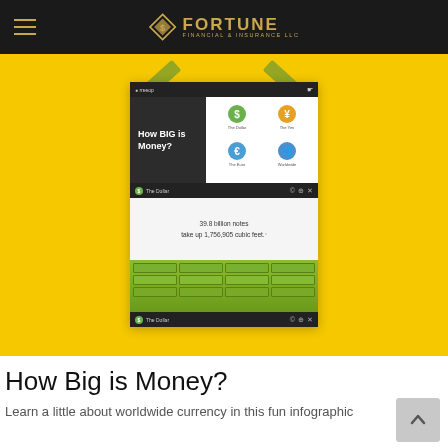Fortune Financial & Insurance LLC
[Figure (infographic): Screenshot of 'How BIG is Money?' infographic showing currency icons (The Dollar, The Yen, The Euro, Worldwide) and a statistic: 39.8 billion notes take up 1,756,905 cubic feet, with a visual of stacked money bills, taped to a yellow background.]
How Big is Money?
Learn a little about worldwide currency in this fun infographic